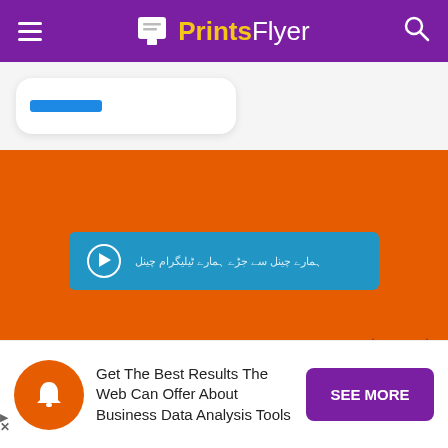PrintsFlyer
[Figure (screenshot): Partial white card with blue bar visible, on light grey background]
[Figure (screenshot): Orange promotional section with a blue Telegram-style button containing Hindi/Urdu text and a send icon, with black silhouette skyline at bottom]
[Figure (infographic): Advertisement banner: orange bell icon circle, text 'Get The Best Results The Web Can Offer About Business Data Analysis Tools', purple SEE MORE button]